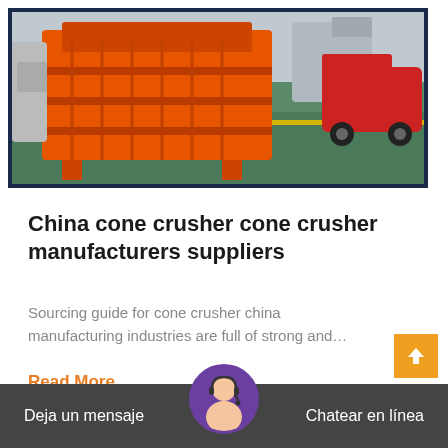[Figure (photo): Industrial factory floor with large orange crusher machine and forklift/vehicle on green floor, shown inside a dark blue bordered frame]
China cone crusher cone crusher manufacturers suppliers
Sourcing guide for cone crusher china manufacturing industries are full of strong and…
Read More
Deja un mensaje   Chatear en línea